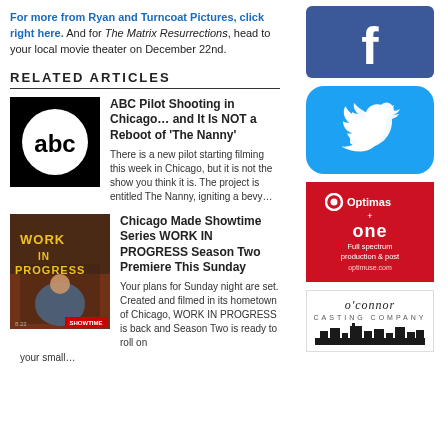For more from Ryan and Turncoat Pictures, click right here. And for The Matrix Resurrections, head to your local movie theater on December 22nd.
RELATED ARTICLES
[Figure (logo): ABC network logo - white circle with lowercase 'abc' text on black background]
ABC Pilot Shooting in Chicago… and It Is NOT a Reboot of 'The Nanny'
There is a new pilot starting filming this week in Chicago, but it is not the show you think it is. The project is entitled The Nanny, igniting a bevy…
[Figure (photo): Work in Progress Showtime series poster with woman and yellow text]
Chicago Made Showtime Series WORK IN PROGRESS Season Two Premiere This Sunday
Your plans for Sunday night are set. Created and filmed in its hometown of Chicago, WORK IN PROGRESS is back and Season Two is ready to roll on your small…
[Figure (logo): Facebook logo icon - white F on blue background]
[Figure (logo): Twitter bird logo icon on blue rounded square background]
[Figure (logo): Optimus + one advertisement - Full spectrum production and post]
[Figure (logo): O'Connor Casting Company logo with city skyline silhouette]